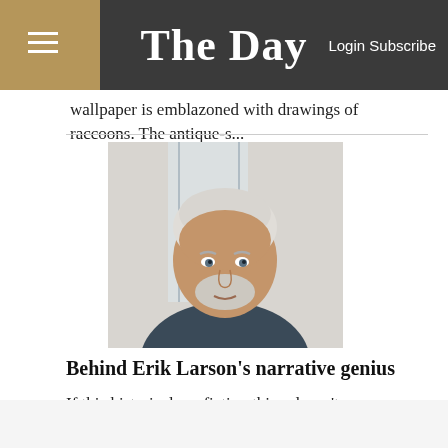The Day — Login Subscribe
wallpaper is emblazoned with drawings of raccoons. The antique-s...
[Figure (photo): Portrait photo of Erik Larson, an older man with white hair and a short white beard, wearing a blue-grey shirt, photographed against a light background.]
Behind Erik Larson's narrative genius
If this historical nonfiction thing doesn't
[Figure (other): Advertisement banner: Optics Planet 20 Years of Gear logo on left, image of a rifle scope in the center, Thybe logo and 'SAVE UP TO 40% OFF INSTANTLY' text, and a red 'Shop Now >' button on the right.]